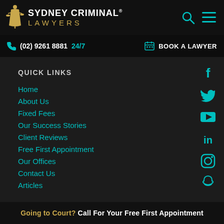[Figure (logo): Sydney Criminal Lawyers logo with golden justice figure and white/gold text]
(02) 9261 8881 24/7  BOOK A LAWYER
QUICK LINKS
Home
About Us
Fixed Fees
Our Success Stories
Client Reviews
Free First Appointment
Our Offices
Contact Us
Articles
[Figure (infographic): Social media icons column: Facebook, Twitter, YouTube, LinkedIn, Instagram, Snapchat — all in teal/cyan color]
Going to Court? Call For Your Free First Appointment